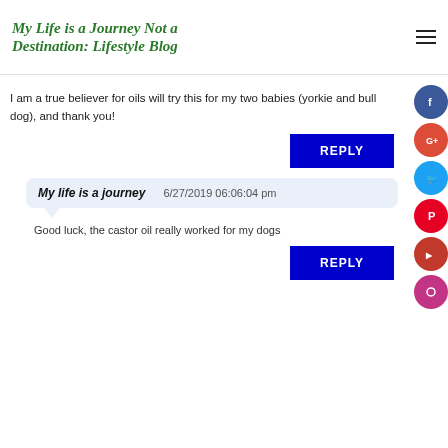My Life is a Journey Not a Destination: Lifestyle Blog
I am a true believer for oils will try this for my two babies (yorkie and bull dog), and thank you!
REPLY
My life is a journey   6/27/2019 06:06:04 pm
Good luck, the castor oil really worked for my dogs
REPLY